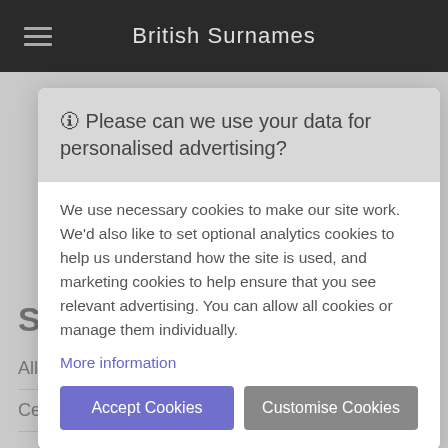British Surnames
Surnames
All Surnames
Celtic Surnames
English Surnames
🛈 Please can we use your data for personalised advertising?
We use necessary cookies to make our site work. We'd also like to set optional analytics cookies to help us understand how the site is used, and marketing cookies to help ensure that you see relevant advertising. You can allow all cookies or manage them individually.
More information
Accept Cookies
Customise Cookies